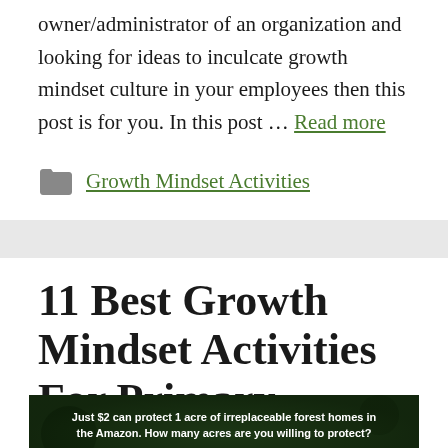owner/administrator of an organization and looking for ideas to inculcate growth mindset culture in your employees then this post is for you. In this post … Read more
Growth Mindset Activities
11 Best Growth Mindset Activities For Primary School Stu...
[Figure (photo): Advertisement banner: dark forest background with text 'Just $2 can protect 1 acre of irreplaceable forest homes in the Amazon. How many acres are you willing to protect?' and a green 'PROTECT FORESTS NOW' button.]